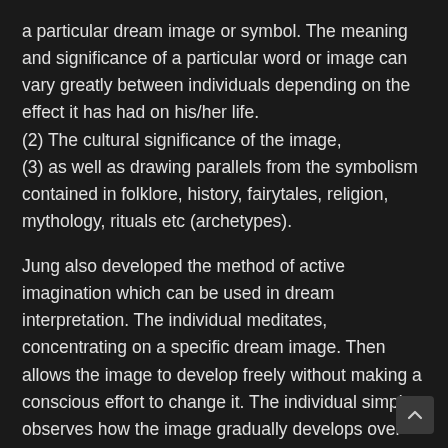a particular dream image or symbol. The meaning and significance of a particular word or image can vary greatly between individuals depending on the effect it has had on his/her life.
(2) The cultural significance of the image,
(3) as well as drawing parallels from the symbolism contained in folklore, history, fairytales, religion, mythology, rituals etc (archetypes).
Jung also developed the method of active imagination which can be used in dream interpretation. The individual meditates, concentrating on a specific dream image. Then allows the image to develop freely without making a conscious effort to change it. The individual simply observes how the image gradually develops over time.